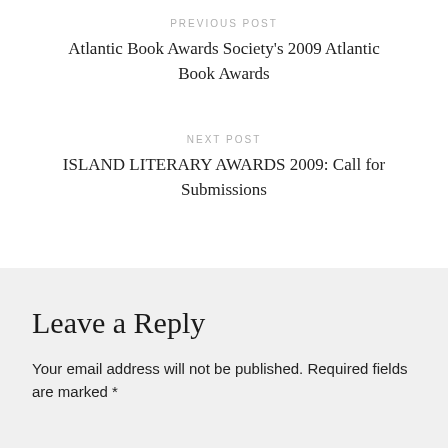PREVIOUS POST
Atlantic Book Awards Society's 2009 Atlantic Book Awards
NEXT POST
ISLAND LITERARY AWARDS 2009: Call for Submissions
Leave a Reply
Your email address will not be published. Required fields are marked *